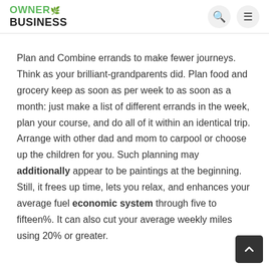OWNER BUSINESS
Plan and Combine errands to make fewer journeys. Think as your brilliant-grandparents did. Plan food and grocery keep as soon as per week to as soon as a month: just make a list of different errands in the week, plan your course, and do all of it within an identical trip. Arrange with other dad and mom to carpool or choose up the children for you. Such planning may additionally appear to be paintings at the beginning. Still, it frees up time, lets you relax, and enhances your average fuel economic system through five to fifteen%. It can also cut your average weekly miles using 20% or greater.